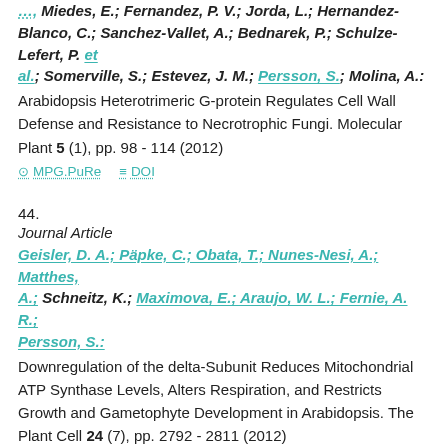Miedes, E.; Fernandez, P. V.; Jorda, L.; Hernandez-Blanco, C.; Sanchez-Vallet, A.; Bednarek, P.; Schulze-Lefert, P. et al.; Somerville, S.; Estevez, J. M.; Persson, S.; Molina, A.: Arabidopsis Heterotrimeric G-protein Regulates Cell Wall Defense and Resistance to Necrotrophic Fungi. Molecular Plant 5 (1), pp. 98 - 114 (2012)
MPG.PuRe   DOI
44.
Journal Article
Geisler, D. A.; Päpke, C.; Obata, T.; Nunes-Nesi, A.; Matthes, A.; Schneitz, K.; Maximova, E.; Araujo, W. L.; Fernie, A. R.; Persson, S.: Downregulation of the delta-Subunit Reduces Mitochondrial ATP Synthase Levels, Alters Respiration, and Restricts Growth and Gametophyte Development in Arabidopsis. The Plant Cell 24 (7), pp. 2792 - 2811 (2012)
MPG.PuRe   DOI   Full